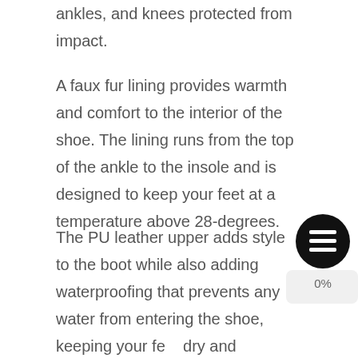ankles, and knees protected from impact.
A faux fur lining provides warmth and comfort to the interior of the shoe. The lining runs from the top of the ankle to the insole and is designed to keep your feet at a temperature above 28-degrees.
The PU leather upper adds style to the boot while also adding waterproofing that prevents any water from entering the shoe, keeping your feet dry and protected from rainwater, sleet, and snow.